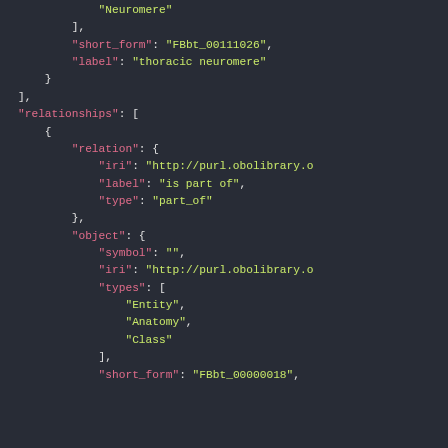JSON code snippet showing ontology data structure with relationships, relation, object fields including iri, label, type, symbol, types, short_form